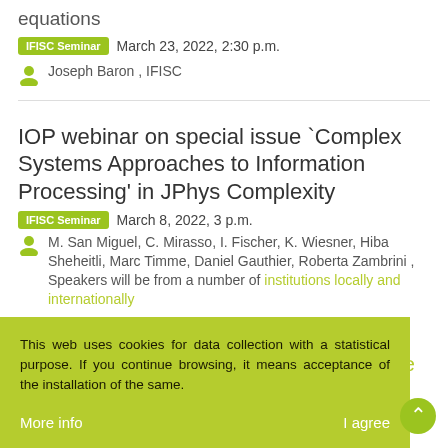equations
IFISC Seminar  March 23, 2022, 2:30 p.m.
Joseph Baron , IFISC
IOP webinar on special issue `Complex Systems Approaches to Information Processing' in JPhys Complexity
IFISC Seminar  March 8, 2022, 3 p.m.
M. San Miguel, C. Mirasso, I. Fischer, K. Wiesner, Hiba Sheheitli, Marc Timme, Daniel Gauthier, Roberta Zambrini , Speakers will be from a number of institutions locally and internationally
This web uses cookies for data collection with a statistical purpose. If you continue browsing, it means acceptance of the installation of the same.
More info    I agree
Benchmarking experimental quantum computation: rigorous noise analysis in the